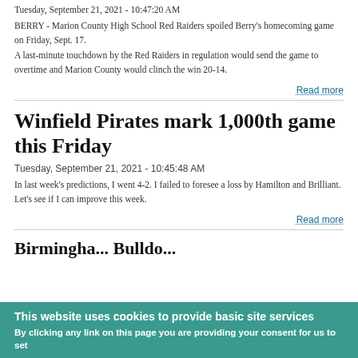Tuesday, September 21, 2021 - 10:47:20 AM
BERRY - Marion County High School Red Raiders spoiled Berry's homecoming game on Friday, Sept. 17.
A last-minute touchdown by the Red Raiders in regulation would send the game to overtime and Marion County would clinch the win 20-14.
Read more
Winfield Pirates mark 1,000th game this Friday
Tuesday, September 21, 2021 - 10:45:48 AM
In last week's predictions, I went 4-2. I failed to foresee a loss by Hamilton and Brilliant. Let's see if I can improve this week.
Read more
Birmingha... Bulldogs...
This website uses cookies to provide basic site services
By clicking any link on this page you are providing your consent for us to set